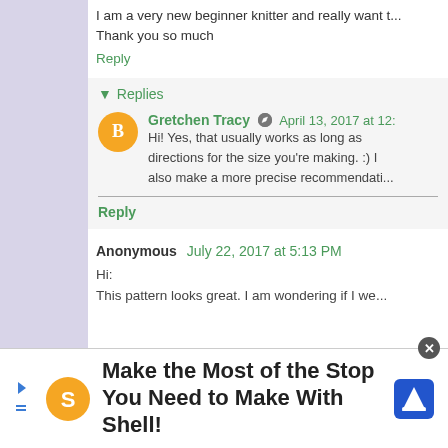I am a very new beginner knitter and really want t...
Thank you so much
Reply
▾ Replies
Gretchen Tracy  April 13, 2017 at 12:...
Hi! Yes, that usually works as long as directions for the size you're making. :) I also make a more precise recommendati...
Reply
Anonymous  July 22, 2017 at 5:13 PM
Hi:
This pattern looks great. I am wondering if I we...
[Figure (infographic): Shell advertisement banner: Make the Most of the Stop You Need to Make With Shell!]